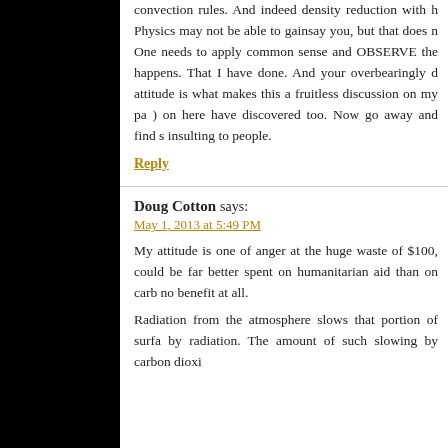convection rules. And indeed density reduction with h Physics may not be able to gainsay you, but that does n One needs to apply common sense and OBSERVE the happens. That I have done. And your overbearingly d attitude is what makes this a fruitless discussion on my pa ) on here have discovered too. Now go away and find s insulting to people.
Reply
Doug Cotton says:
May 1, 2013 at 5:49 PM
My attitude is one of anger at the huge waste of $100, could be far better spent on humanitarian aid than on carb no benefit at all.
Radiation from the atmosphere slows that portion of surfa by radiation. The amount of such slowing by carbon dioxi